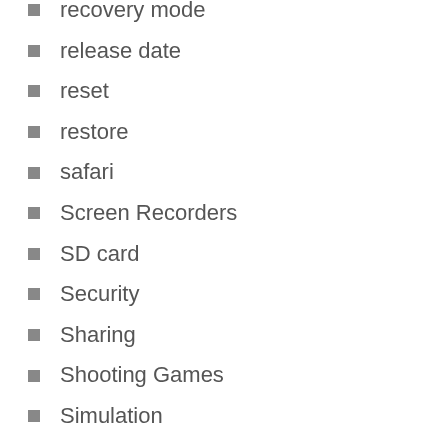recovery mode
release date
reset
restore
safari
Screen Recorders
SD card
Security
Sharing
Shooting Games
Simulation
Sketch 2019 Crack
Sketch 2019 Crack Full version
Sketch Crack
Sketch Download
Sketch Full Version
Sketch Keygen